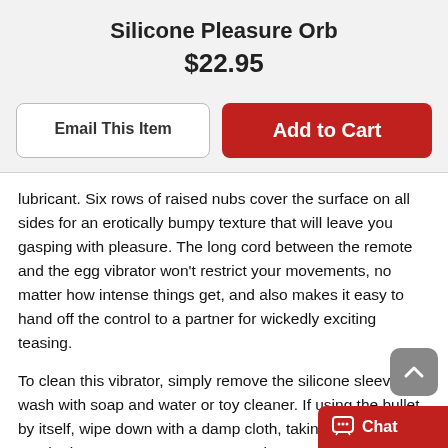Silicone Pleasure Orb
$22.95
Email This Item
Add to Cart
lubricant. Six rows of raised nubs cover the surface on all sides for an erotically bumpy texture that will leave you gasping with pleasure. The long cord between the remote and the egg vibrator won't restrict your movements, no matter how intense things get, and also makes it easy to hand off the control to a partner for wickedly exciting teasing.
To clean this vibrator, simply remove the silicone sleeve and wash with soap and water or toy cleaner. If using the bullet by itself, wipe down with a damp cloth, taking care not to get the battery compartment wet. When your intimate activities are finished, be sure to take the batteries out of this sex toy before storage to prolong their